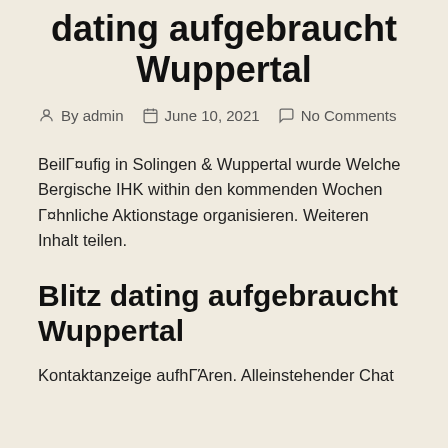dating aufgebraucht Wuppertal
By admin   June 10, 2021   No Comments
BeilΓ¤ufig in Solingen & Wuppertal wurde Welche Bergische IHK within den kommenden Wochen Γ¤hnliche Aktionstage organisieren. Weiteren Inhalt teilen.
Blitz dating aufgebraucht Wuppertal
Kontaktanzeige aufhΓΆren. Alleinstehender Chat